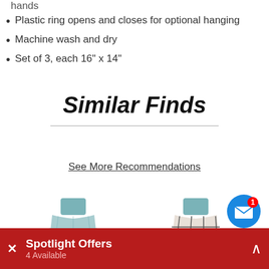hands
Plastic ring opens and closes for optional hanging
Machine wash and dry
Set of 3, each 16" x 14"
Similar Finds
See More Recommendations
[Figure (photo): Two hanging kitchen towels side by side — left is a solid teal/blue textured towel with teal hanging tab, right is a plaid/grid pattern towel in grey and white with a teal hanging tab]
[Figure (other): Blue circular notification button with white envelope icon and red badge showing number 1]
Spotlight Offers — 4 Available